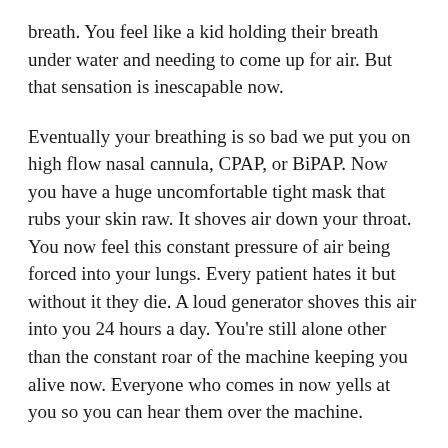breath. You feel like a kid holding their breath under water and needing to come up for air. But that sensation is inescapable now.
Eventually your breathing is so bad we put you on high flow nasal cannula, CPAP, or BiPAP. Now you have a huge uncomfortable tight mask that rubs your skin raw. It shoves air down your throat. You now feel this constant pressure of air being forced into your lungs. Every patient hates it but without it they die. A loud generator shoves this air into you 24 hours a day. You're still alone other than the constant roar of the machine keeping you alive now. Everyone who comes in now yells at you so you can hear them over the machine.
Your breathing is still worsening. You feel exhausted and like you're drowning. Now every day we come in and are talking to you about putting a breathing tube down your throat or transitioning you to comfort care and letting you die. Those are your options. You know the breathing tube is what you